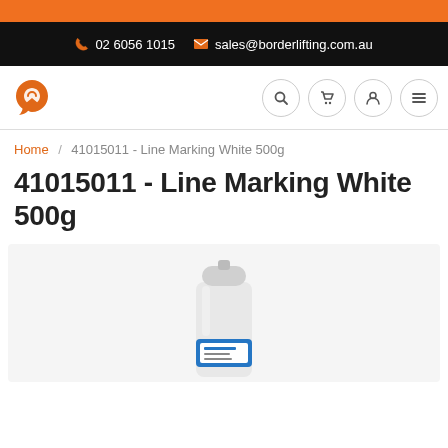02 6056 1015   sales@borderlifting.com.au
[Figure (logo): Border Lifting logo - orange stylized icon]
Home / 41015011 - Line Marking White 500g
41015011 - Line Marking White 500g
[Figure (photo): White spray can with blue label for Line Marking White 500g product]